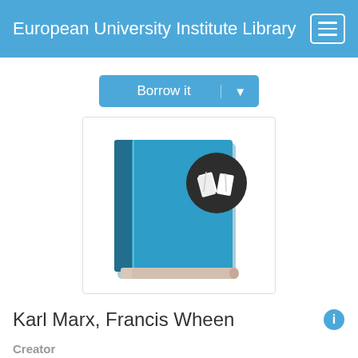European University Institute Library
[Figure (screenshot): Borrow it button with dropdown arrow]
[Figure (illustration): Book cover icon with teal/blue book and a dark circular badge showing a book icon]
Karl Marx, Francis Wheen
Creator
Wheen, Francis
Language